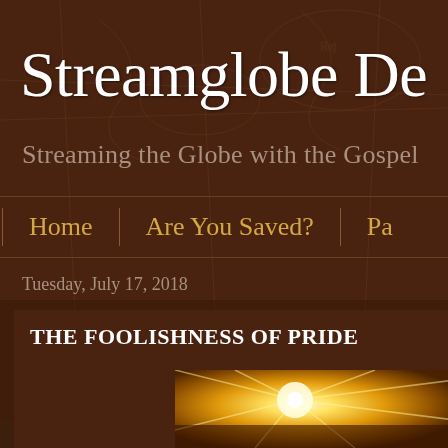Streamglobe De
Streaming the Globe with the Gospel
Home | Are You Saved? | Pa
Tuesday, July 17, 2018
THE FOOLISHNESS OF PRIDE
[Figure (photo): Bright golden sunburst light through foliage, warm golden tones]